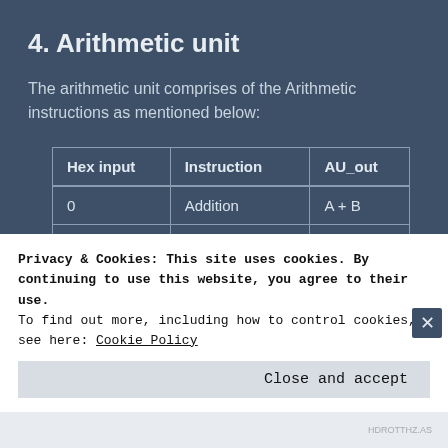4. Arithmetic unit
The arithmetic unit comprises of the Arithmetic instructions as mentioned below:
| Hex input | Instruction | AU_out |
| --- | --- | --- |
| 0 | Addition | A + B |
| 1 | Subtraction | A – B |
| 2 | Multiplication | A * B |
Privacy & Cookies: This site uses cookies. By continuing to use this website, you agree to their use.
To find out more, including how to control cookies, see here: Cookie Policy
Close and accept